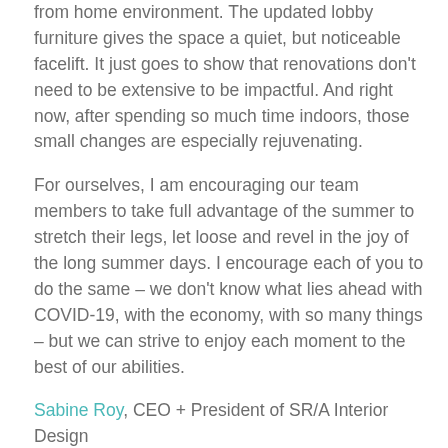from home environment. The updated lobby furniture gives the space a quiet, but noticeable facelift. It just goes to show that renovations don't need to be extensive to be impactful. And right now, after spending so much time indoors, those small changes are especially rejuvenating.
For ourselves, I am encouraging our team members to take full advantage of the summer to stretch their legs, let loose and revel in the joy of the long summer days. I encourage each of you to do the same – we don't know what lies ahead with COVID-19, with the economy, with so many things – but we can strive to enjoy each moment to the best of our abilities.
Sabine Roy, CEO + President of SR/A Interior Design